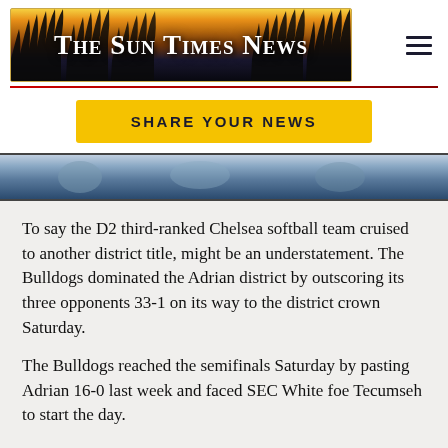The Sun Times News
[Figure (screenshot): The Sun Times News logo banner with silhouetted grass/reeds against a golden sunset sky]
SHARE YOUR NEWS
[Figure (photo): Partial photo strip showing a sports scene]
To say the D2 third-ranked Chelsea softball team cruised to another district title, might be an understatement. The Bulldogs dominated the Adrian district by outscoring its three opponents 33-1 on its way to the district crown Saturday.
The Bulldogs reached the semifinals Saturday by pasting Adrian 16-0 last week and faced SEC White foe Tecumseh to start the day.